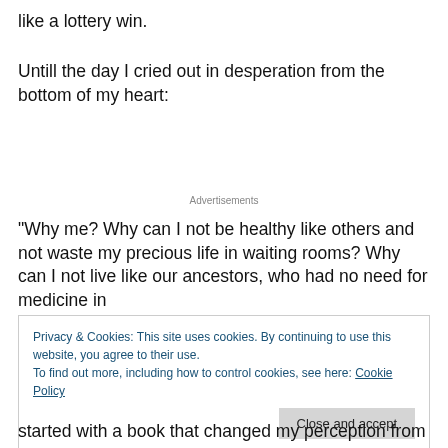like a lottery win.
Untill the day I cried out in desperation from the bottom of my heart:
Advertisements
“Why me? Why can I not be healthy like others and not waste my precious life in waiting rooms? Why can I not live like our ancestors, who had no need for medicine in
Privacy & Cookies: This site uses cookies. By continuing to use this website, you agree to their use.
To find out more, including how to control cookies, see here: Cookie Policy
Close and accept
started with a book that changed my perception from